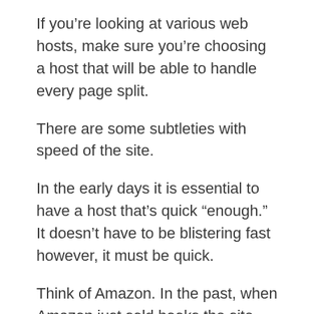If you’re looking at various web hosts, make sure you’re choosing a host that will be able to handle every page split.
There are some subtleties with speed of the site.
In the early days it is essential to have a host that’s quick “enough.” It doesn’t have to be blistering fast however, it must be quick.
Think of Amazon. In the past, when Amazon just sold books the site had to be fast but it didn’t have to be instantaneous.
With the increasing number of customers using it for all their shopping, Amazon’s website won’t be